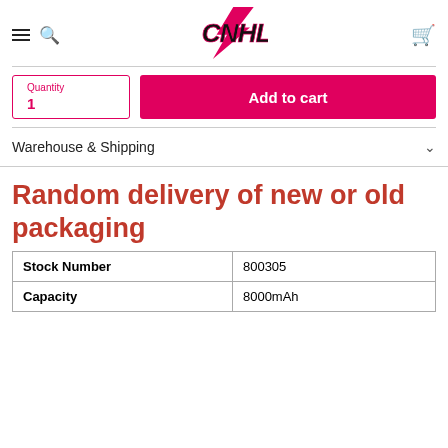CNHL store header with hamburger menu, search, logo, and cart icon
Quantity
1
Add to cart
Warehouse & Shipping
Random delivery of new or old packaging
| Stock Number | 800305 |
| --- | --- |
| Capacity | 8000mAh |